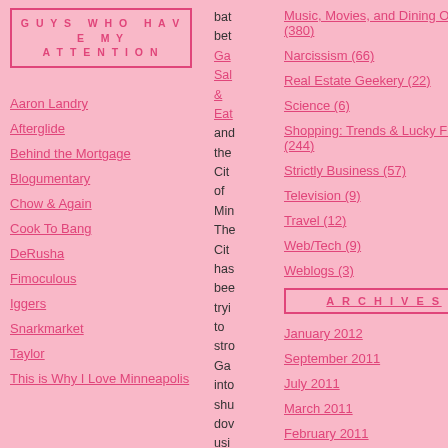GUYS WHO HAVE MY ATTENTION
Aaron Landry
Afterglide
Behind the Mortgage
Blogumentary
Chow & Again
Cook To Bang
DeRusha
Fimoculous
Iggers
Snarkmarket
Taylor
This is Why I Love Minneapolis
bat bet Ga Sal & Eat and the City of Min The City has been tryi to stro Ga into shu dov usi
Music, Movies, and Dining Out (380)
Narcissism (66)
Real Estate Geekery (22)
Science (6)
Shopping: Trends & Lucky Finds (244)
Strictly Business (57)
Television (9)
Travel (12)
Web/Tech (9)
Weblogs (3)
ARCHIVES
January 2012
September 2011
July 2011
March 2011
February 2011
December 2010